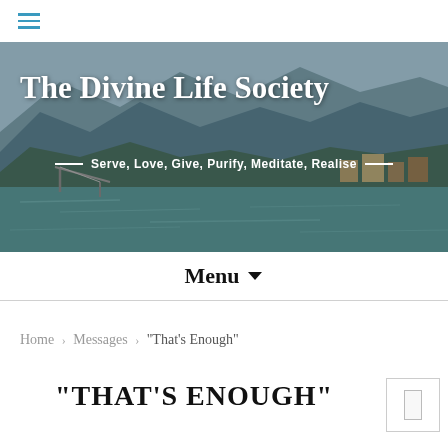≡ (hamburger menu icon)
[Figure (photo): The Divine Life Society website header banner showing a scenic photo of mountains and a river (Ganges/Rishikesh area) with a bridge visible. White text reads 'The Divine Life Society' and below 'Serve, Love, Give, Purify, Meditate, Realise']
The Divine Life Society
Serve, Love, Give, Purify, Meditate, Realise
Menu ▾
Home › Messages › "That's Enough"
"THAT'S ENOUGH"